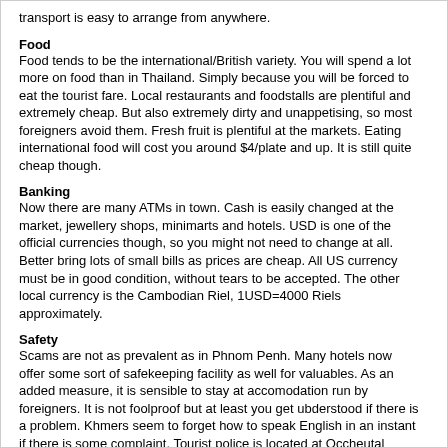transport is easy to arrange from anywhere.
Food
Food tends to be the international/British variety. You will spend a lot more on food than in Thailand. Simply because you will be forced to eat the tourist fare. Local restaurants and foodstalls are plentiful and extremely cheap. But also extremely dirty and unappetising, so most foreigners avoid them. Fresh fruit is plentiful at the markets. Eating international food will cost you around $4/plate and up. It is still quite cheap though.
Banking
Now there are many ATMs in town. Cash is easily changed at the market, jewellery shops, minimarts and hotels. USD is one of the official currencies though, so you might not need to change at all. Better bring lots of small bills as prices are cheap. All US currency must be in good condition, without tears to be accepted. The other local currency is the Cambodian Riel, 1USD=4000 Riels approximately.
Safety
Scams are not as prevalent as in Phnom Penh. Many hotels now offer some sort of safekeeping facility as well for valuables. As an added measure, it is sensible to stay at accomodation run by foreigners. It is not foolproof but at least you get ubderstood if there is a problem. Khmers seem to forget how to speak English in an instant if there is some complaint. Tourist police is located at Occheutal Beach (not that we recommend them, just saying). The all overall nuisance of pestering moto-taxi drivers can be infuriating at times. As the beggars especially at Occheutal area. Fighting among nice gentlemen (western tourists) does also occasionally happen in night entertainment areas. Obviously they haven't learned about brotherly love yet and the sharing of women. If they did, they would not fight.
Maps
The attched map with this report only shows the location of the new "beer-bar" complex. For good local maps, the new tourist office at the bus station is reliable source, as well as the western run hotels.
------------------------------------------------------------------------